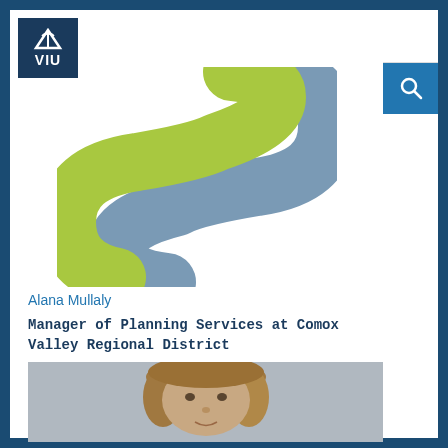[Figure (logo): VIU (Vancouver Island University) logo box with white eagle/bird icon and VIU text on dark navy blue background]
[Figure (logo): Large stylized S-shaped logo with blue-grey upper curve and yellow-green lower curve, representing a student/alumni LinkedIn-style profile platform]
[Figure (logo): Hamburger menu icon (three horizontal lines) on dark navy blue background, top right navigation]
[Figure (logo): Search (magnifying glass) icon on medium blue background, right side navigation]
Alana Mullaly
Manager of Planning Services at Comox Valley Regional District
[Figure (photo): Headshot photograph of Alana Mullaly, a woman with long brownish-blonde hair, neutral expression, against a grey-blue background]